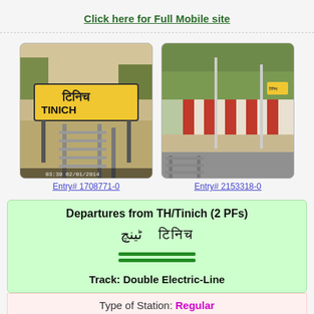Click here for Full Mobile site
[Figure (photo): Station sign photo for TINICH railway station with Hindi script, timestamp 03:39 02/01/2014]
Entry# 1708771-0
[Figure (photo): Platform view of Tinich railway station showing railway tracks and platform area]
Entry# 2153318-0
Departures from TH/Tinich (2 PFs)
ٹینچ  टिनिच
Track: Double Electric-Line
Type of Station: Regular